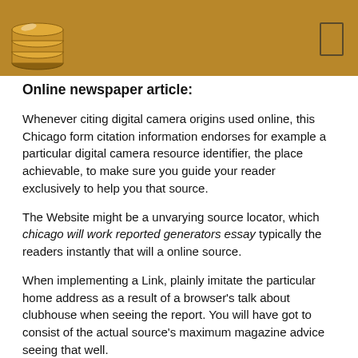Online newspaper article:
Whenever citing digital camera origins used online, this Chicago form citation information endorses for example a particular digital camera resource identifier, the place achievable, to make sure you guide your reader exclusively to help you that source.
The Website might be a unvarying source locator, which chicago will work reported generators essay typically the readers instantly that will a online source.
When implementing a Link, plainly imitate the particular home address as a result of a browser's talk about clubhouse when seeing the report. You will have got to consist of the actual source's maximum magazine advice seeing that well.